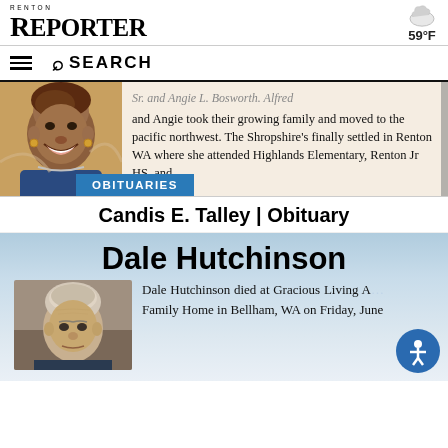RENTON REPORTER | 59°F
SEARCH
[Figure (photo): Portrait photo of Candis E. Talley, a woman smiling, wearing a blue top and jewelry]
Sr. and Angie L. Bosworth. Alfred and Angie took their growing family and moved to the pacific northwest. The Shropshire's finally settled in Renton WA where she attended Highlands Elementary, Renton Jr HS, and
OBITUARIES
Candis E. Talley | Obituary
Dale Hutchinson
[Figure (photo): Portrait photo of Dale Hutchinson, an elderly man with white/grey hair]
Dale Hutchinson died at Gracious Living Adult Family Home in Bellingham, WA on Friday, June